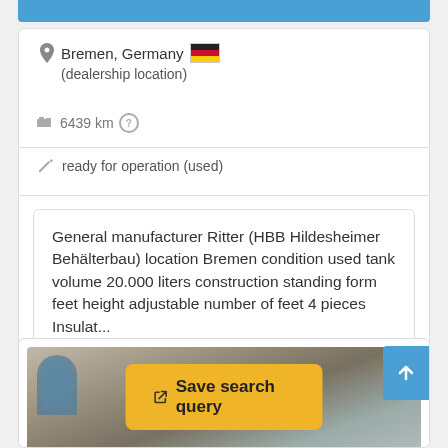Bremen, Germany (dealership location)
6439 km
ready for operation (used)
General manufacturer Ritter (HBB Hildesheimer Behälterbau) location Bremen condition used tank volume 20.000 liters construction standing form feet height adjustable number of feet 4 pieces Insulat...
[Figure (screenshot): Bottom portion showing a photo of industrial tanks inside a building, with a yellow 'Save search query' button overlay and a blue scroll-up arrow button on the right.]